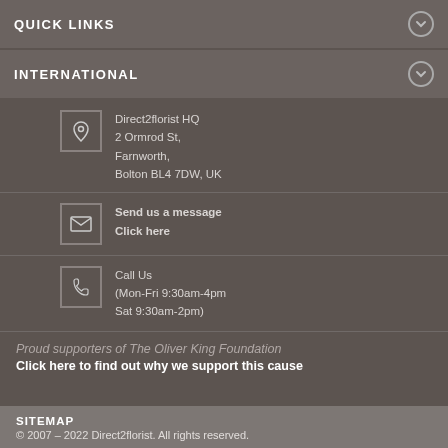QUICK LINKS
INTERNATIONAL
Direct2florist HQ
2 Ormrod St,
Farnworth,
Bolton BL4 7DW, UK
Send us a message
Click here
Call Us
(Mon-Fri 9:30am-4pm
Sat 9:30am-2pm)
Proud supporters of The Oliver King Foundation
Click here to find out why we support this cause
SITEMAP
© 2007 – 2022 Direct2florist. All rights reserved.